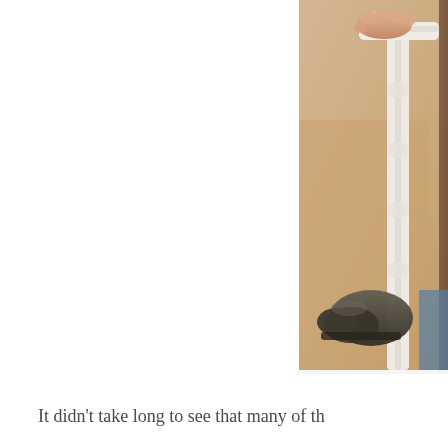[Figure (photo): A person's hand gripping the top of a white wooden chair spindle/banister post, with a dark shoe/boot visible at the bottom. Warm beige blurred background, indoor setting.]
It didn't take long to see that many of th